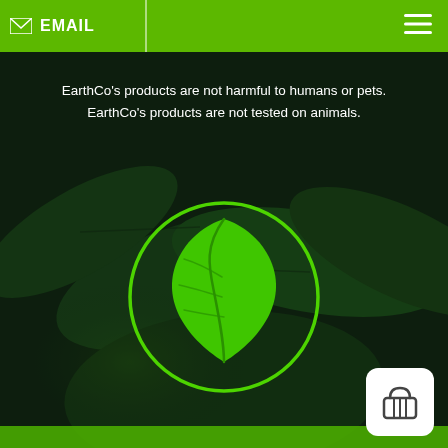EMAIL
EarthCo's products are not harmful to humans or pets.
EarthCo's products are not tested on animals.
[Figure (illustration): Green circle outline with a bright green leaf icon in the center, overlaid on a dark background with large green leaves visible behind.]
[Figure (illustration): White rounded square button with a shopping basket icon, positioned bottom-right corner.]